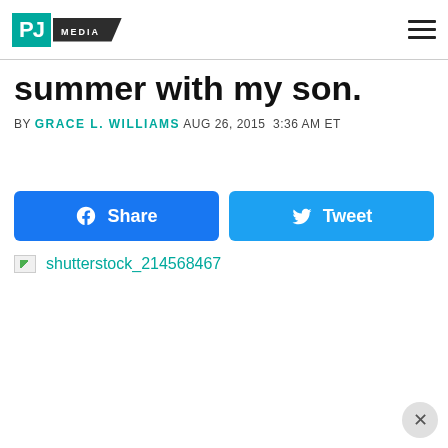PJ MEDIA
summer with my son.
BY GRACE L. WILLIAMS AUG 26, 2015 3:36 AM ET
[Figure (other): Facebook Share button and Twitter Tweet button]
[Figure (other): Broken image placeholder with link: shutterstock_214568467]